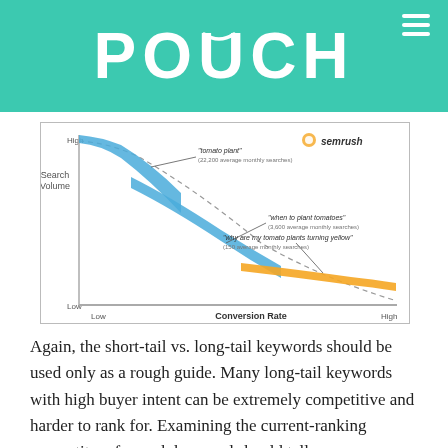[Figure (logo): POUCH logo in white capital letters on teal/green background with hamburger menu icon in top right]
[Figure (continuous-plot): SEMrush long-tail keyword chart showing Search Volume (y-axis, High to Low) vs Conversion Rate (x-axis, Low to High). Three curved bands: large blue band labeled 'tomato plant' (22,200 average monthly searches), smaller blue band labeled 'when to plant tomatoes' (3,600 average monthly searches), orange band labeled 'why are my tomato plants turning yellow' (150 average monthly searches). Dashed curve shows the overall trend. X-axis label: Conversion Rate, Y-axis label: Search Volume.]
Again, the short-tail vs. long-tail keywords should be used only as a rough guide. Many long-tail keywords with high buyer intent can be extremely competitive and harder to rank for. Examining the current-ranking competitors for each keyword should tell you more about the difficulty than the total number